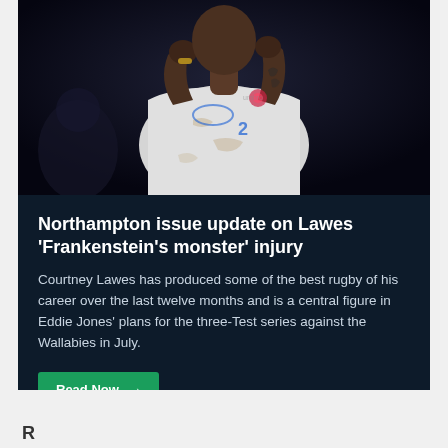[Figure (photo): England rugby player in white jersey with number 2, hands near face, dark background, muddy kit]
Northampton issue update on Lawes 'Frankenstein's monster' injury
Courtney Lawes has produced some of the best rugby of his career over the last twelve months and is a central figure in Eddie Jones' plans for the three-Test series against the Wallabies in July.
Read Now →
R... d... a... i... D... R... i...